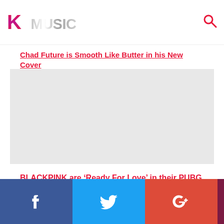KMusic logo and search icon
Chad Future is Smooth Like Butter in his New Cover
[Figure (photo): Thumbnail image for article about BLACKPINK Ready For Love PUBG MOBILE MV]
BLACKPINK are ‘Ready For Love’ in their PUBG MOBILE collaborated MV!
Social sharing bar: Facebook, Twitter, Google+, Comment